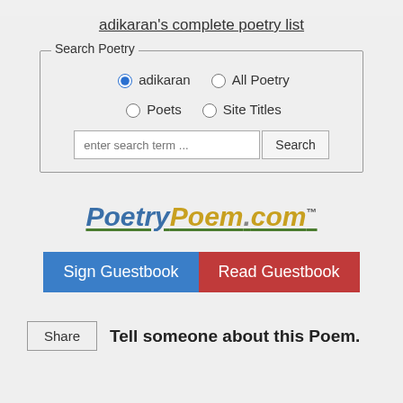adikaran's complete poetry list
Search Poetry
adikaran (selected) All Poetry
Poets  Site Titles
enter search term ...  Search
[Figure (logo): PoetryPoem.com logo with green underline and trademark symbol]
Sign Guestbook  Read Guestbook
Share  Tell someone about this Poem.